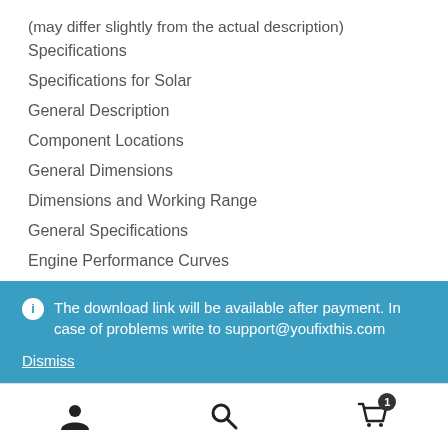(may differ slightly from the actual description)
Specifications
Specifications for Solar
General Description
Component Locations
General Dimensions
Dimensions and Working Range
General Specifications
Engine Performance Curves
Approximate Weight of Workload Materials
The download link will be available after payment. In case of problems write to support@youfixthis.com
Dismiss